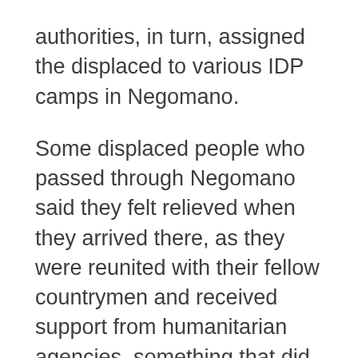authorities, in turn, assigned the displaced to various IDP camps in Negomano.
Some displaced people who passed through Negomano said they felt relieved when they arrived there, as they were reunited with their fellow countrymen and received support from humanitarian agencies, something that did not happen on the other side of the border. However, a significant number of repatriated Mozambicans found themselves separated from their families, both during the flight from Palma and on arrival in Tanzania. They thus found themselves in Negomano without family support, relying exclusively on humanitarian aid.